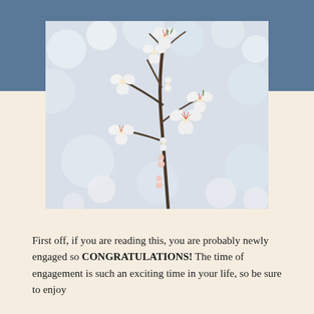[Figure (photo): Close-up photograph of white cherry blossoms on a branch against a soft blurred background of white blooms and grey-blue sky.]
First off, if you are reading this, you are probably newly engaged so CONGRATULATIONS! The time of engagement is such an exciting time in your life, so be sure to enjoy